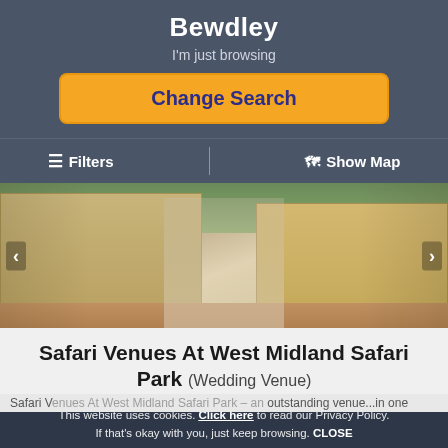Bewdley
I'm just browsing
Change Search
Filters
Show Map
[Figure (photo): Wedding couple standing in front of a large manor house / estate building, bride in white dress with veil, groom in dark suit. Sandy/golden stone building in background.]
Safari Venues At West Midland Safari Park (Wedding Venue)
1.1 miles from the centre of Bewdley
This website uses cookies. Click here to read our Privacy Policy. If that's okay with you, just keep browsing. CLOSE